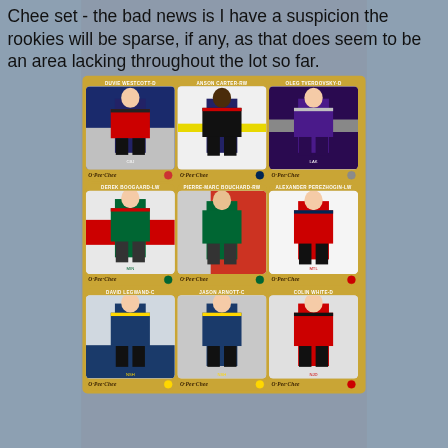Chee set - the bad news is I have a suspicion the rookies will be sparse, if any, as that does seem to be an area lacking throughout the lot so far.
[Figure (photo): A 3x3 grid of O-Pee-Chee hockey trading cards on a gold/tan background, surrounded by faded sports cards collage. Top row: Duvie Westcott-D, Anson Carter-RW, Oleg Tverdovsky-D. Middle row: Derek Boogaard-LW, Pierre-Marc Bouchard-RW, Alexander Perezhogin-LW. Bottom row: David Legwand-C, Jason Arnott-C, Colin White-D. Each card has an O-Pee-Chee logo at the bottom with team logo.]